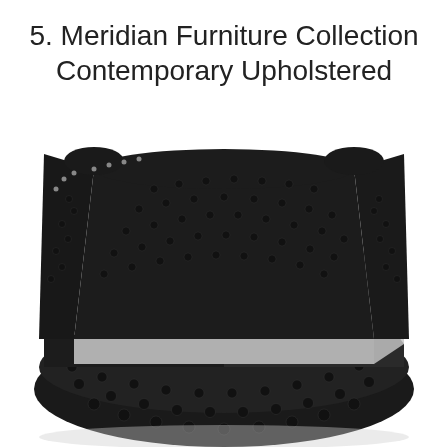5. Meridian Furniture Collection Contemporary Upholstered
[Figure (photo): A black tufted upholstered bed with a high winged headboard and a round circular platform base, styled with gray and white pillows and white bedding, with a small book on the mattress.]